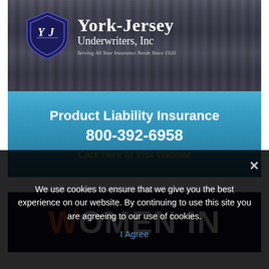[Figure (logo): York-Jersey Underwriters, Inc advertisement banner. Features shield logo with Y and J letters on dark curtain background. Blue gradient lower section with text: Product Liability Insurance, 800-392-6958, Click Here to Visit Website. Tagline: Serving All Your Insurance Needs Since 1926.]
[Figure (photo): Partial view of a second advertisement banner with dark navy background showing large bold white text 'WOMEN IN' with the W in orange/red color.]
We use cookies to ensure that we give you the best experience on our website. By continuing to use this site you are agreeing to our use of cookies.
I Agree